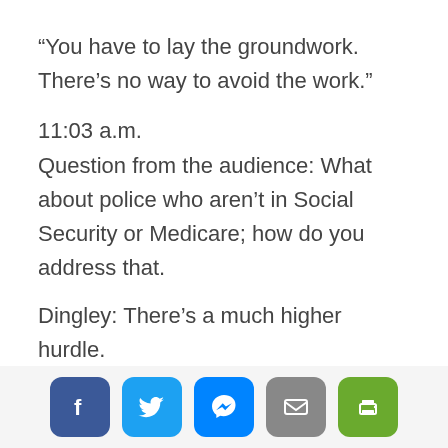“You have to lay the groundwork. There’s no way to avoid the work.”
11:03 a.m.
Question from the audience: What about police who aren’t in Social Security or Medicare; how do you address that.
Dingley: There’s a much higher hurdle.
11:06 a.m.
Suzanne Greschner, director of Municipal Finance, is filling in for Rosemary Booth Gallogly
[Figure (other): Social media sharing toolbar with Facebook, Twitter, Messenger, Email, and Print buttons]